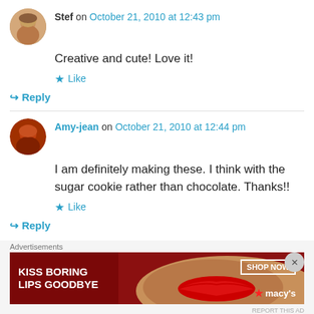Stef on October 21, 2010 at 12:43 pm
Creative and cute! Love it!
★ Like
↳ Reply
Amy-jean on October 21, 2010 at 12:44 pm
I am definitely making these. I think with the sugar cookie rather than chocolate. Thanks!!
★ Like
↳ Reply
[Figure (other): Macy's advertisement banner: KISS BORING LIPS GOODBYE with SHOP NOW button and Macy's logo]
Advertisements